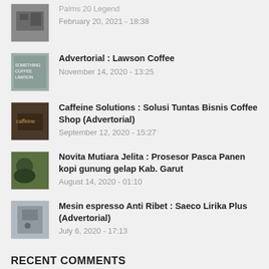Advertorial : Lawson Coffee
November 14, 2020 - 13:25
Caffeine Solutions : Solusi Tuntas Bisnis Coffee Shop (Advertorial)
September 12, 2020 - 15:27
Novita Mutiara Jelita : Prosesor Pasca Panen kopi gunung gelap Kab. Garut
August 14, 2020 - 01:10
Mesin espresso Anti Ribet : Saeco Lirika Plus (Advertorial)
July 6, 2020 - 17:13
RECENT COMMENTS